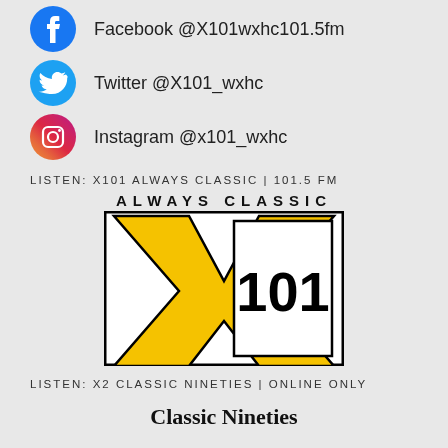Facebook @X101wxhc101.5fm
Twitter @X101_wxhc
Instagram @x101_wxhc
LISTEN: X101 ALWAYS CLASSIC | 101.5 FM
[Figure (logo): X101 Always Classic radio station logo with golden X and '101' text in black border box]
LISTEN: X2 CLASSIC NINETIES | ONLINE ONLY
Classic Nineties